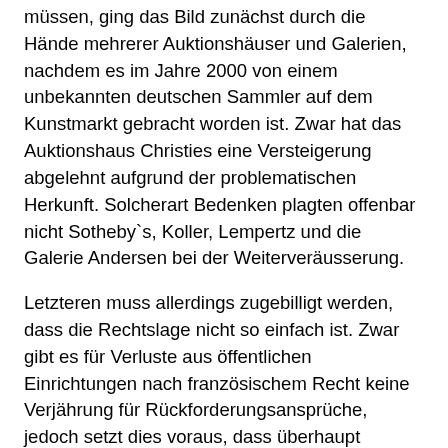müssen, ging das Bild zunächst durch die Hände mehrerer Auktionshäuser und Galerien, nachdem es im Jahre 2000 von einem unbekannten deutschen Sammler auf dem Kunstmarkt gebracht worden ist. Zwar hat das Auktionshaus Christies eine Versteigerung abgelehnt aufgrund der problematischen Herkunft. Solcherart Bedenken plagten offenbar nicht Sotheby`s, Koller, Lempertz und die Galerie Andersen bei der Weiterveräusserung.
Letzteren muss allerdings zugebilligt werden, dass die Rechtslage nicht so einfach ist. Zwar gibt es für Verluste aus öffentlichen Einrichtungen nach französischem Recht keine Verjährung für Rückforderungsansprüche, jedoch setzt dies voraus, dass überhaupt französisches Recht anzuwenden ist. Das Gemälde hatte immerhin mehrfach die Landesgrenzen und damit die Rechtssysteme gewechselt. Somit waren die verschiedenen Verlust- und Verjährungsregelungen nach dem Recht des jeweiligen Belegenheitsortes des Bildes zu prüfen.
Umso erfreulicher, dass sich die New Yorker Galerie zu einer Rückgabe entschliessen konnte und hierfür keine Entschädigung verlangte. Möglicherweise hat der Umstand geholfen, dass das